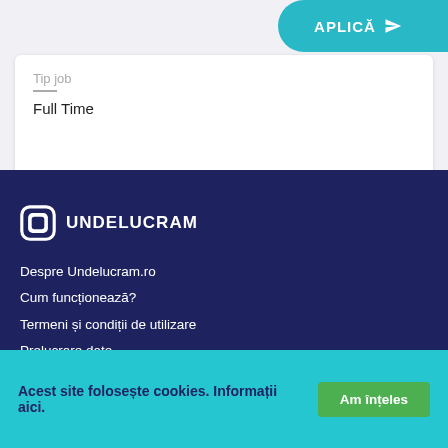APLICĂ
Tip job
Full Time
[Figure (logo): UNDELUCRAM logo with rounded square icon]
Despre Undelucram.ro
Cum funcționează?
Termeni și condiții de utilizare
Prelucrare date
Politica de cookies
Publicitate
Aparitii media
Parteneri
Contact
Acest site folosește cookies. Informații aici.
Am înțeles